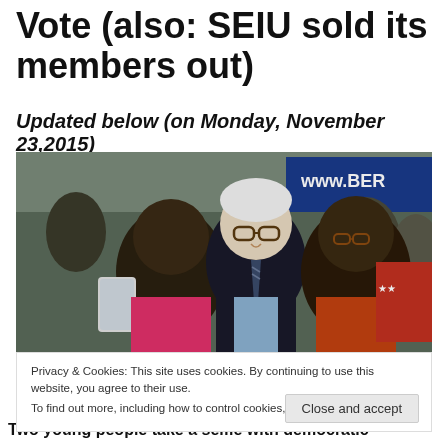Vote (also: SEIU sold its members out)
Updated below (on Monday, November 23,2015)
[Figure (photo): Two young people take a selfie with a smiling elderly white-haired man at an outdoor political event. A 'www.BER' campaign sign is visible in the background. The man in the center wears glasses and a striped tie.]
Privacy & Cookies: This site uses cookies. By continuing to use this website, you agree to their use.
To find out more, including how to control cookies, see here: Cookie Policy
Two young people take a selfie with democratic